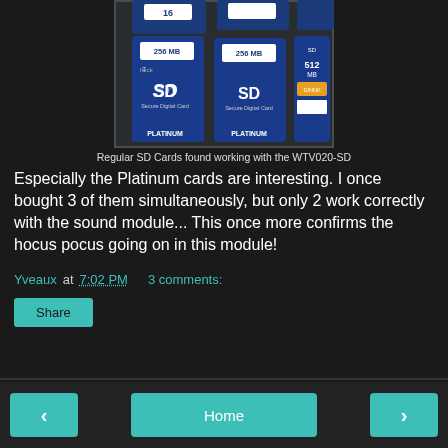[Figure (photo): Photo of multiple blue SD memory cards including two 256MB Platinum SD cards and one 512MB SD card, on a dark surface]
Regular SD Cards found working with the WTV020-SD
Especially the Platinum cards are interesting. I once bought 3 of them simultaneously, but only 2 work correctly with the sound module... This once more confirms the hocus pocus going on in this module!
Yveaux at 7:02 PM    3 comments:
Share
< Home >